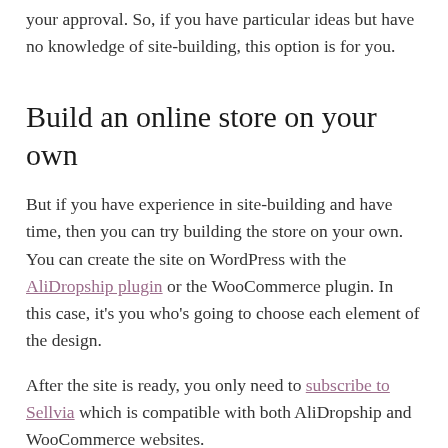your approval. So, if you have particular ideas but have no knowledge of site-building, this option is for you.
Build an online store on your own
But if you have experience in site-building and have time, then you can try building the store on your own. You can create the site on WordPress with the AliDropship plugin or the WooCommerce plugin. In this case, it’s you who’s going to choose each element of the design.
After the site is ready, you only need to subscribe to Sellvia which is compatible with both AliDropship and WooCommerce websites.
After installing the Sellvia plugin, you’ll be able to import